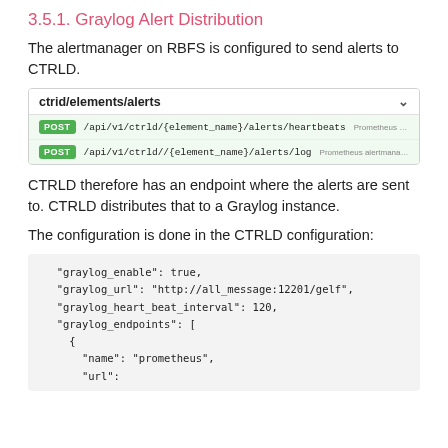3.5.1. Graylog Alert Distribution
The alertmanager on RBFS is configured to send alerts to CTRLD.
[Figure (screenshot): API documentation screenshot showing ctrid/elements/alerts endpoint with two POST routes: /api/v1/ctrld/{element_name}/alerts/heartbeats and /api/v1/ctrld//{element_name}/alerts/log]
CTRLD therefore has an endpoint where the alerts are sent to. CTRLD distributes that to a Graylog instance.
The configuration is done in the CTRLD configuration:
"graylog_enable": true,
"graylog_url": "http://all_message:12201/gelf",
"graylog_heart_beat_interval": 120,
"graylog_endpoints": [
  {
    "name": "prometheus",
    "url":